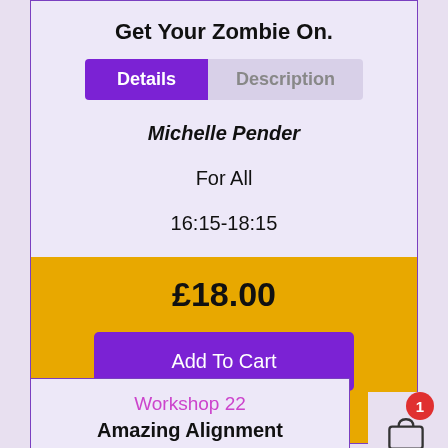Get Your Zombie On.
Details | Description
Michelle Pender
For All
16:15-18:15
£18.00
Add To Cart
Workshop 22
Amazing Alignment